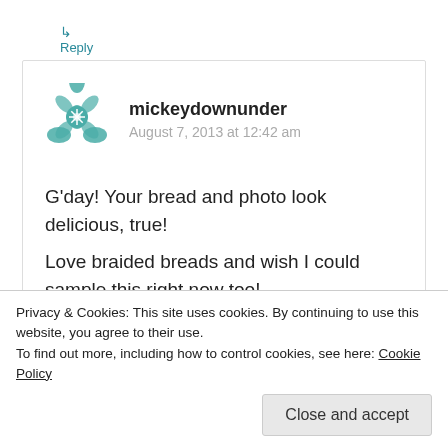↳ Reply
[Figure (logo): Teal geometric flower/mandala avatar icon for user mickeydownunder]
mickeydownunder
August 7, 2013 at 12:42 am
G'day! Your bread and photo look delicious, true!

Love braided breads and wish I could sample this right now too!

Cheers! Joanne
Privacy & Cookies: This site uses cookies. By continuing to use this website, you agree to their use.
To find out more, including how to control cookies, see here: Cookie Policy
Close and accept